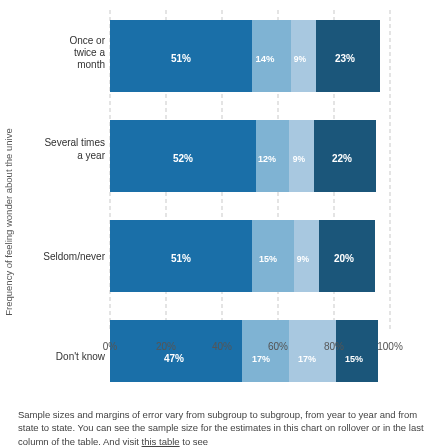[Figure (stacked-bar-chart): Frequency of feeling wonder about the universe]
Sample sizes and margins of error vary from subgroup to subgroup, from year to year and from state to state. You can see the sample size for the estimates in this chart on rollover or in the last column of the table. And visit this table to see